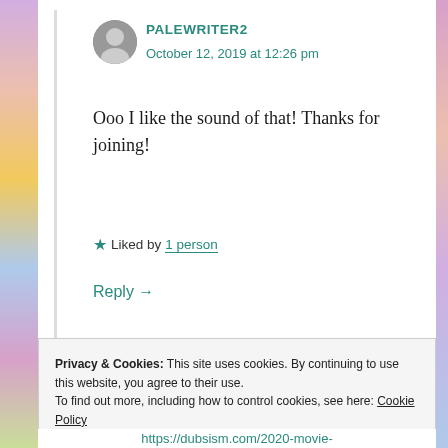PALEWRITER2
October 12, 2019 at 12:26 pm
Ooo I like the sound of that! Thanks for joining!
Liked by 1 person
Reply →
Privacy & Cookies: This site uses cookies. By continuing to use this website, you agree to their use.
To find out more, including how to control cookies, see here: Cookie Policy
Close and accept
https://dubsism.com/2020-movie-